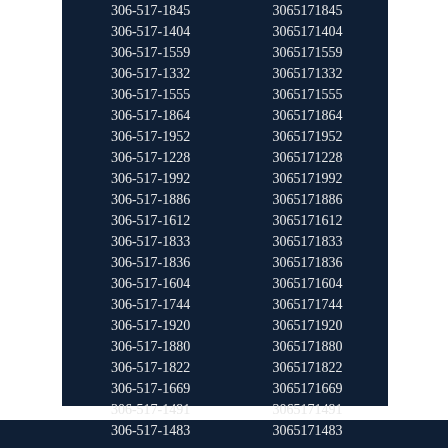| 306-517-1845 | 3065171845 |
| 306-517-1404 | 3065171404 |
| 306-517-1559 | 3065171559 |
| 306-517-1332 | 3065171332 |
| 306-517-1555 | 3065171555 |
| 306-517-1864 | 3065171864 |
| 306-517-1952 | 3065171952 |
| 306-517-1228 | 3065171228 |
| 306-517-1992 | 3065171992 |
| 306-517-1886 | 3065171886 |
| 306-517-1612 | 3065171612 |
| 306-517-1833 | 3065171833 |
| 306-517-1836 | 3065171836 |
| 306-517-1604 | 3065171604 |
| 306-517-1744 | 3065171744 |
| 306-517-1920 | 3065171920 |
| 306-517-1880 | 3065171880 |
| 306-517-1822 | 3065171822 |
| 306-517-1669 | 3065171669 |
| 306-517-1491 | 3065171491 |
| 306-517-1483 | 3065171483 |